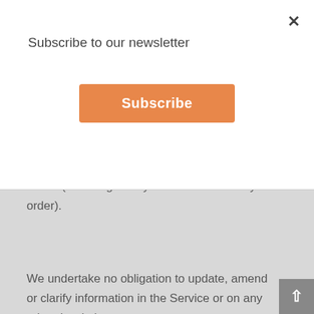Subscribe to our newsletter
[Figure (screenshot): Orange Subscribe button]
the Service that contains typographical errors, inaccuracies or omissions that may relate to product descriptions, pricing, promotions, offers, product shipping charges, transit times and availability. We reserve the right to correct any errors, inaccuracies or omissions, and to change or update information or cancel orders if any information in the Service or on any related website is inaccurate at any time without prior notice (including after you have submitted your order).
We undertake no obligation to update, amend or clarify information in the Service or on any related website,